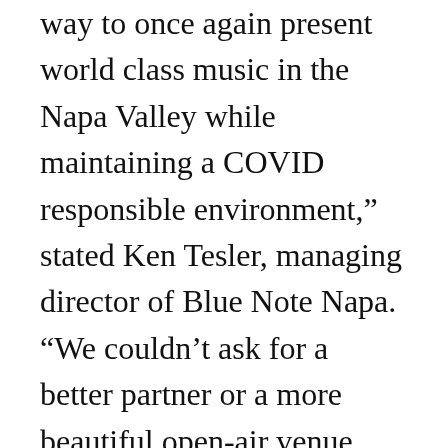way to once again present world class music in the Napa Valley while maintaining a COVID responsible environment,” stated Ken Tesler, managing director of Blue Note Napa. “We couldn’t ask for a better partner or a more beautiful open-air venue than the Charles Krug Winery.”
Nationally-recognized artists